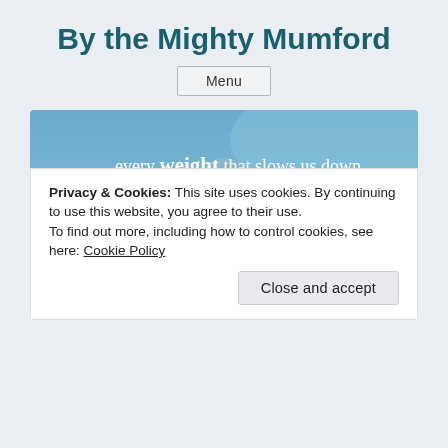By the Mighty Mumford
Menu
[Figure (illustration): Banner image showing a woman running with overlaid text: STRIP OFF every weight that slows us down, especially the SIN that so easily trips us up. Blue sky background.]
Privacy & Cookies: This site uses cookies. By continuing to use this website, you agree to their use.
To find out more, including how to control cookies, see here: Cookie Policy
Close and accept